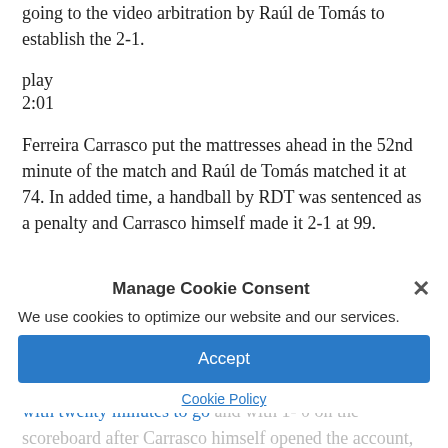going to the video arbitration by Raúl de Tomás to establish the 2-1.
play
2:01
Ferreira Carrasco put the mattresses ahead in the 52nd minute of the match and Raúl de Tomás matched it at 74. In added time, a handball by RDT was sentenced as a penalty and Carrasco himself made it 2-1 at 99.
Diego Pablo Simeone's team after the disappointment of being eliminated from the Champions League against Manchester City, had the merit of securing the points with one less man due to the expulsion of Frenchman Geoffrey Kondogbia for a double warning with twenty minutes to go and with 1- 0 on the scoreboard after Carrasco himself opened the account, which was one of the substitutions
Manage Cookie Consent
We use cookies to optimize our website and our services.
Accept
Cookie Policy